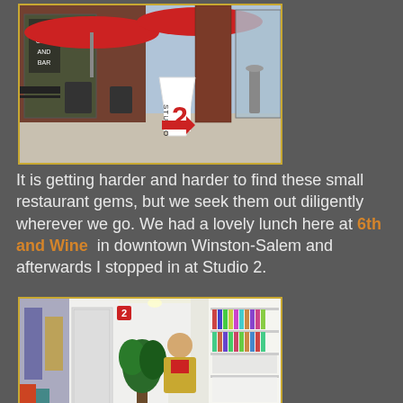[Figure (photo): Exterior of Studio 2 cafe/restaurant in downtown Winston-Salem with red umbrellas over outdoor seating, brick pillars, and a sandwich board sign reading 'Studio 2' with a large red number 2 and arrow.]
It is getting harder and harder to find these small restaurant gems, but we seek them out diligently wherever we go. We had a lovely lunch here at 6th and Wine in downtown Winston-Salem and afterwards I stopped in at Studio 2.
[Figure (photo): Interior of Studio 2 art studio/shop showing a woman in a yellow jacket standing inside the store surrounded by art supplies, fabrics, and merchandise on shelves.]